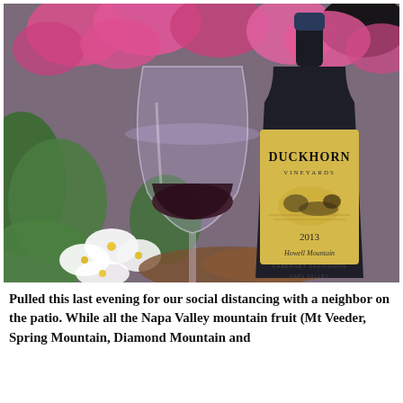[Figure (photo): A glass of red wine alongside a bottle of Duckhorn Vineyards 2013 Howell Mountain Cabernet Sauvignon Napa Valley, surrounded by pink and white flowers and garden foliage.]
Pulled this last evening for our social distancing with a neighbor on the patio. While all the Napa Valley mountain fruit (Mt Veeder, Spring Mountain, Diamond Mountain and